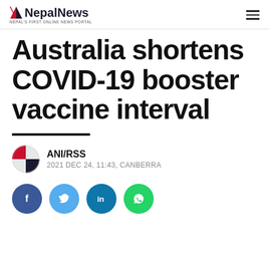NepalNews — NEPAL'S FIRST ONLINE NEWS PORTAL
Australia shortens COVID-19 booster vaccine interval
ANI/RSS
2021 DEC 24, 11:43, CANBERRA
[Figure (infographic): Social sharing buttons: Facebook, Twitter, LinkedIn, WhatsApp]